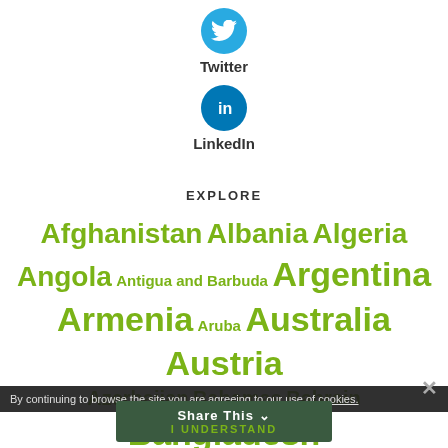[Figure (logo): Twitter circular blue icon with bird logo]
Twitter
[Figure (logo): LinkedIn circular blue icon with 'in' logo]
LinkedIn
EXPLORE
Afghanistan Albania Algeria Angola Antigua and Barbuda Argentina Armenia Aruba Australia Austria Azerbaijan Bahamas Bahrain Bangladesh Bel...
By continuing to browse the site you are agreeing to our use of cookies.
Share This
I UNDERSTAND